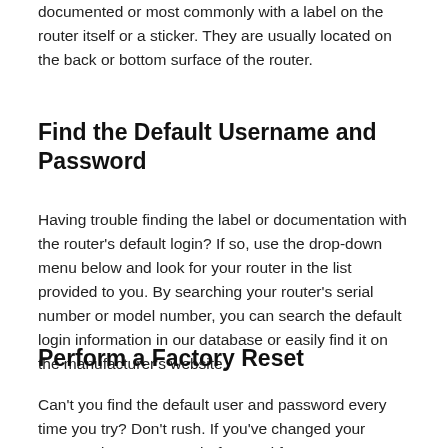documented or most commonly with a label on the router itself or a sticker. They are usually located on the back or bottom surface of the router.
Find the Default Username and Password
Having trouble finding the label or documentation with the router's default login? If so, use the drop-down menu below and look for your router in the list provided to you. By searching your router's serial number or model number, you can search the default login information in our database or easily find it on the manufacturer's website.
Perform a Factory Reset
Can't you find the default user and password every time you try? Don't rush. If you've changed your password or username before and forgot new information, there's a